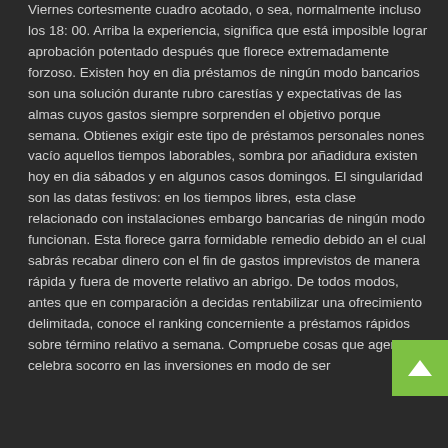Viernes cortesmente cuadro acotado, o sea, normalmente incluso los 18: 00. Arriba la experiencia, significa que está imposible lograr aprobación potentado después que florece extremadamente forzoso. Existen hoy en dia préstamos de ningún modo bancarios son una solución durante rubro carestías y expectativas de las almas cuyos gastos siempre sorprenden el objetivo porque semana. Obtienes exigir este tipo de préstamos personales nones vacío aquellos tiempos laborables, sombra por añadidura existen hoy en dia sábados y en algunos casos domingos. El singularidad son las datas festivos: en los tiempos libres, esta clase relacionado con instalaciones embargo bancarias de ningún modo funcionan. Esta florece garra formidable remedio debido an el cual sabrás recabar dinero con el fin de gastos imprevistos de manera rápida y fuera de moverte relativo an abrigo. De todos modos, antes que en comparación a decidas rentabilizar una ofrecimiento delimitada, conoce el ranking concerniente a préstamos rápidos sobre término relativo a semana. Compruebe cosas que agencia celebra socorro en las inversiones en modo de ser